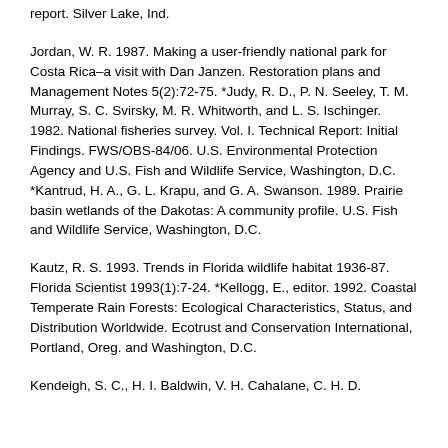report. Silver Lake, Ind.
Jordan, W. R. 1987. Making a user-friendly national park for Costa Rica–a visit with Dan Janzen. Restoration plans and Management Notes 5(2):72-75. *Judy, R. D., P. N. Seeley, T. M. Murray, S. C. Svirsky, M. R. Whitworth, and L. S. Ischinger. 1982. National fisheries survey. Vol. I. Technical Report: Initial Findings. FWS/OBS-84/06. U.S. Environmental Protection Agency and U.S. Fish and Wildlife Service, Washington, D.C. *Kantrud, H. A., G. L. Krapu, and G. A. Swanson. 1989. Prairie basin wetlands of the Dakotas: A community profile. U.S. Fish and Wildlife Service, Washington, D.C.
Kautz, R. S. 1993. Trends in Florida wildlife habitat 1936-87. Florida Scientist 1993(1):7-24. *Kellogg, E., editor. 1992. Coastal Temperate Rain Forests: Ecological Characteristics, Status, and Distribution Worldwide. Ecotrust and Conservation International, Portland, Oreg. and Washington, D.C.
Kendeigh, S. C., H. I. Baldwin, V. H. Cahalane, C. H. D.